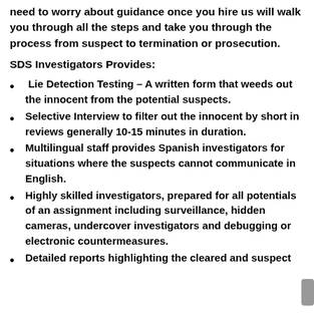need to worry about guidance once you hire us will walk you through all the steps and take you through the process from suspect to termination or prosecution.
SDS Investigators Provides:
Lie Detection Testing – A written form that weeds out the innocent from the potential suspects.
Selective Interview to filter out the innocent by short in reviews generally 10-15 minutes in duration.
Multilingual staff provides Spanish investigators for situations where the suspects cannot communicate in English.
Highly skilled investigators, prepared for all potentials of an assignment including surveillance, hidden cameras, undercover investigators and debugging or electronic countermeasures.
Detailed reports highlighting the cleared and suspect lists as well as well-taken documentation of...